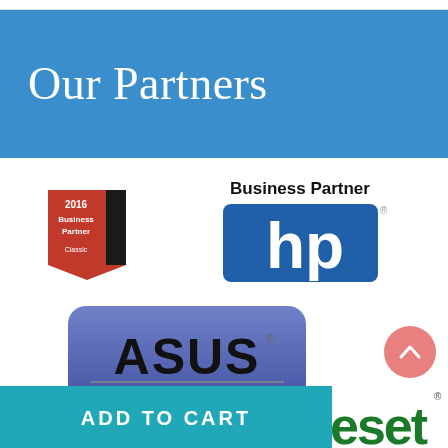Our Partners
[Figure (logo): Lenovo 2016 Business Partner Classic badge - red and black with white text]
[Figure (logo): HP Business Partner logo - blue HP logo with 'Business Partner' text above]
[Figure (logo): ASUS Authorized Partner badge - blue/purple rounded rectangle with ASUS logo and text]
[Figure (logo): ESET logo - partial green/teal text visible at bottom right]
ADD TO CART